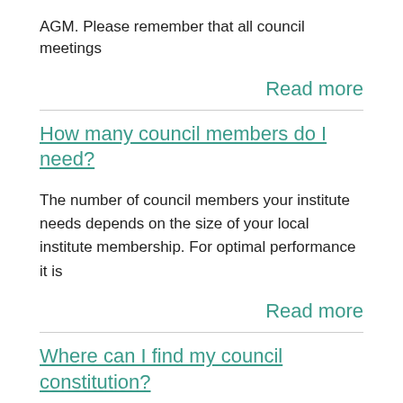AGM. Please remember that all council meetings
Read more
How many council members do I need?
The number of council members your institute needs depends on the size of your local institute membership. For optimal performance it is
Read more
Where can I find my council constitution?